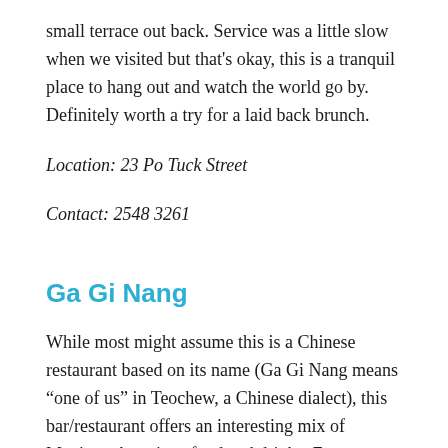small terrace out back. Service was a little slow when we visited but that's okay, this is a tranquil place to hang out and watch the world go by. Definitely worth a try for a laid back brunch.
Location: 23 Po Tuck Street
Contact: 2548 3261
Ga Gi Nang
While most might assume this is a Chinese restaurant based on its name (Ga Gi Nang means “one of us” in Teochew, a Chinese dialect), this bar/restaurant offers an interesting mix of Mexican-American food and drinks. From burritos and quesadillas, to beer battered fish and BBQ spare ribs, Ga Gi